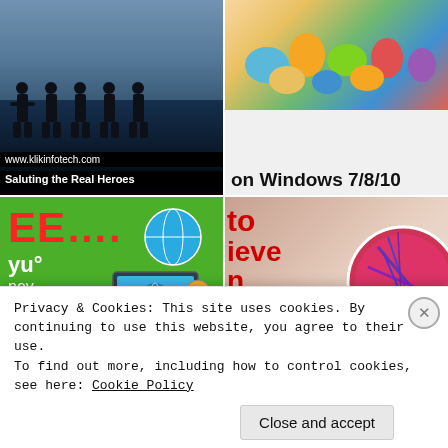[Figure (screenshot): Website grid showing multiple image thumbnails from klikinfotech.com and other sites including a military silhouette banner, Windows 7/8/10 article, green payment gateway ad, uric acid health article, and partial bottom images]
Privacy & Cookies: This site uses cookies. By continuing to use this website, you agree to their use.
To find out more, including how to control cookies, see here: Cookie Policy
Close and accept